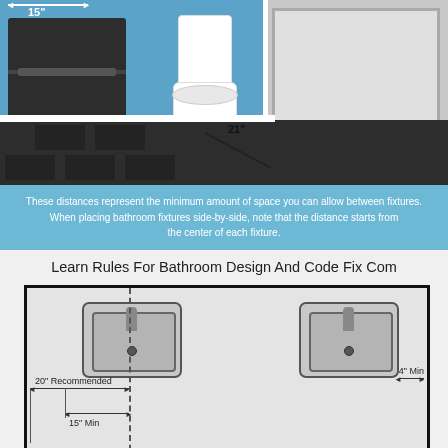[Figure (illustration): 3D bathroom scene showing a wall-mounted cabinet with dimension arrow labeled 15", a toilet with a diagonal dimension line labeled 21", and a bathtub on the right side. The room has a dark checkered floor and light blue walls.]
These distances represent the minimum amount of space you can allow between fixtures. When placing bathroom fixtures side-by-side, note that the distance starts from the center of each fixture.
Learn Rules For Bathroom Design And Code Fix Com
[Figure (engineering-diagram): Floor plan diagram showing two sinks side by side. Dimension annotations show: 20" Recommended (left wall to center of left sink), 15" Min (center line to right edge of left sink area), 4" Min (right sink to right wall). A vertical dashed center line runs from top to bottom through the left sink center.]